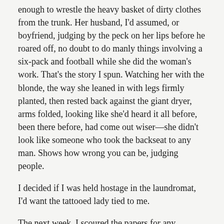enough to wrestle the heavy basket of dirty clothes from the trunk. Her husband, I'd assumed, or boyfriend, judging by the peck on her lips before he roared off, no doubt to do manly things involving a six-pack and football while she did the woman's work. That's the story I spun. Watching her with the blonde, the way she leaned in with legs firmly planted, then rested back against the giant dryer, arms folded, looking like she'd heard it all before, been there before, had come out wiser—she didn't look like someone who took the backseat to any man. Shows how wrong you can be, judging people.
I decided if I was held hostage in the laundromat, I'd want the tattooed lady tied to me.
The next week, I scoured the papers for any mention of the arrest. Evidently it was so uneventful it didn't warrant a sentence. I don't like stories that leave me hanging. Why was the kid hauled away in handcuffs? Did the blonde forgive him? Did she bale him out, or leave him sitting in a jail cell while she drove the RV to the Sierras? Maybe the tattooed lady joined her on some wild Thelma and Louise adventure.